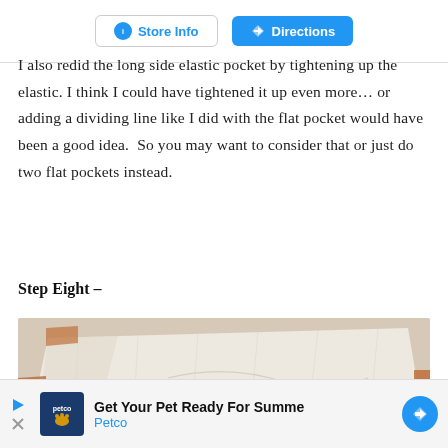[Figure (screenshot): Store Info and Directions buttons at top of page]
I also redid the long side elastic pocket by tightening up the elastic. I think I could have tightened it up even more… or adding a dividing line like I did with the flat pocket would have been a good idea.  So you may want to consider that or just do two flat pockets instead.
Step Eight –
[Figure (photo): Photo of a folded fabric piece (cream/beige linen-like material) laid flat on a surface, with corner stitching visible and a patterned fabric underneath.]
[Figure (screenshot): Advertisement bar at bottom: Petco ad reading 'Get Your Pet Ready For Summe' with Petco logo and blue direction arrow]